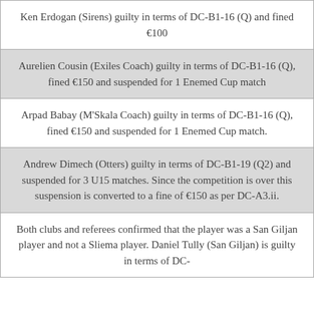| Ken Erdogan (Sirens) guilty in terms of DC-B1-16 (Q) and fined €100 |
| Aurelien Cousin (Exiles Coach) guilty in terms of DC-B1-16 (Q), fined €150 and suspended for 1 Enemed Cup match |
| Arpad Babay (M'Skala Coach) guilty in terms of DC-B1-16 (Q), fined €150 and suspended for 1 Enemed Cup match. |
| Andrew Dimech (Otters) guilty in terms of DC-B1-19 (Q2) and suspended for 3 U15 matches. Since the competition is over this suspension is converted to a fine of €150 as per DC-A3.ii. |
| Both clubs and referees confirmed that the player was a San Giljan player and not a Sliema player. Daniel Tully (San Giljan) is guilty in terms of DC- |